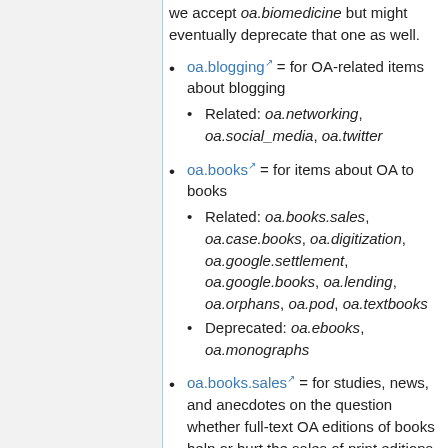we accept oa.biomedicine but might eventually deprecate that one as well.
oa.blogging = for OA-related items about blogging
Related: oa.networking, oa.social_media, oa.twitter
oa.books = for items about OA to books
Related: oa.books.sales, oa.case.books, oa.digitization, oa.google.settlement, oa.google.books, oa.lending, oa.orphans, oa.pod, oa.textbooks
Deprecated: oa.ebooks, oa.monographs
oa.books.sales = for studies, news, and anecdotes on the question whether full-text OA editions of books help or hurt the sales of print editions